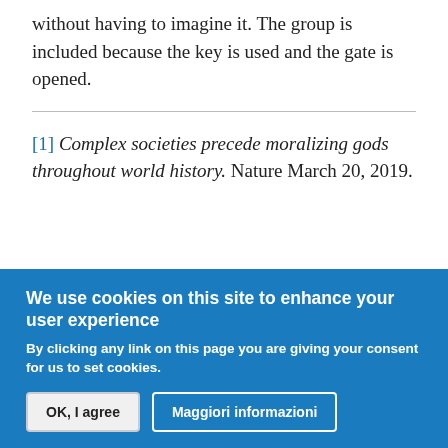without having to imagine it. The group is included because the key is used and the gate is opened.
[1] Complex societies precede moralizing gods throughout world history. Nature March 20, 2019.
We use cookies on this site to enhance your user experience
By clicking any link on this page you are giving your consent for us to set cookies.
OK, I agree
Maggiori informazioni